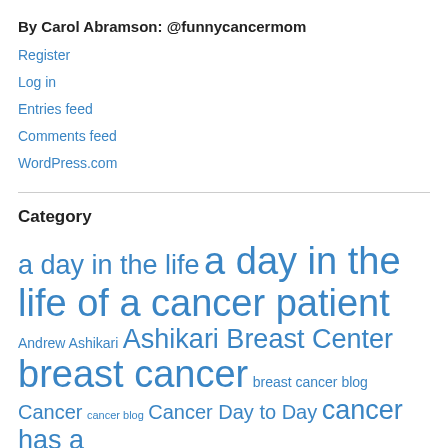By Carol Abramson: @funnycancermom
Register
Log in
Entries feed
Comments feed
WordPress.com
Category
a day in the life  a day in the life of a cancer patient  Andrew Ashikari  Ashikari Breast Center  breast cancer  breast cancer blog  Cancer  cancer blog  Cancer Day to Day  cancer has a